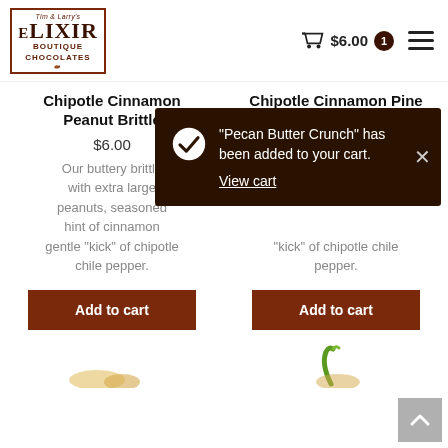Elixir Boutique Chocolates — $6.00 cart
Chipotle Cinnamon Peanut Brittle
Chipotle Cinnamon Pine Nut Brittle
$6.00
$6.00
Our buttery brittle with extra large peanuts, seasoned hint of cinnamon gentle "kick" of chipotle chile pepper.
"kick" of chipotle chile pepper.
[Figure (screenshot): Toast notification popup with dark brown background showing checkmark icon and message: "Pecan Butter Crunch" has been added to your cart. View cart link. X close button.]
Add to cart
Add to cart